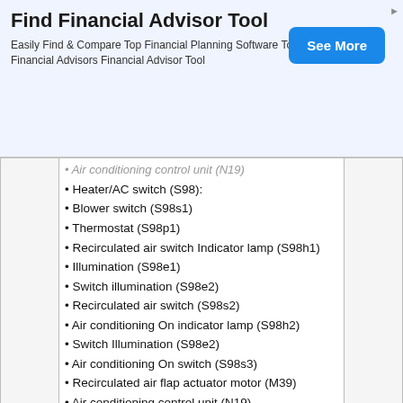[Figure (other): Advertisement banner: Find Financial Advisor Tool with See More button]
|  | Description |  |
| --- | --- | --- |
|  | Air conditioning control unit (N19) [partial, at top]
• Heater/AC switch (S98):
• Blower switch (S98s1)
• Thermostat (S98p1)
• Recirculated air switch Indicator lamp (S98h1)
• Illumination (S98e1)
• Switch illumination (S98e2)
• Recirculated air switch (S98s2)
• Air conditioning On indicator lamp (S98h2)
• Switch Illumination (S98e2)
• Air conditioning On switch (S98s3)
• Recirculated air flap actuator motor (M39)
• Air conditioning control unit (N19) |  |
| 17 | Cargo area connector box (X58/4) | 15 |